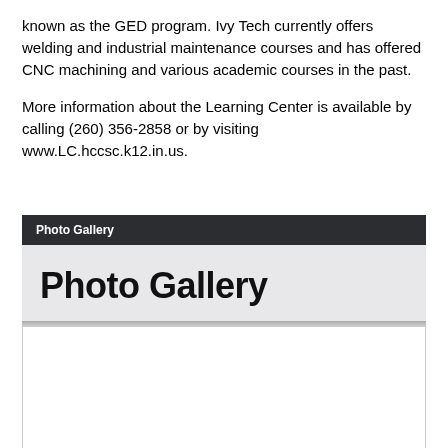known as the GED program. Ivy Tech currently offers welding and industrial maintenance courses and has offered CNC machining and various academic courses in the past.
More information about the Learning Center is available by calling (260) 356-2858 or by visiting www.LC.hccsc.k12.in.us.
Photo Gallery
Photo Gallery
[Figure (photo): Empty white photo area placeholder within the Photo Gallery section]